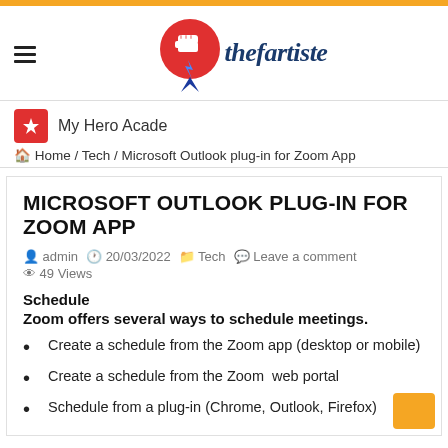[Figure (logo): thefartiste website logo — red circular speech bubble with white fist, blue lightning bolt, and site name 'thefartiste' in blue italic]
My Hero Acade
Home / Tech / Microsoft Outlook plug-in for Zoom App
MICROSOFT OUTLOOK PLUG-IN FOR ZOOM APP
admin  20/03/2022  Tech  Leave a comment  49 Views
Schedule
Zoom offers several ways to schedule meetings.
Create a schedule from the Zoom app (desktop or mobile)
Create a schedule from the Zoom  web portal
Schedule from a plug-in (Chrome, Outlook, Firefox)